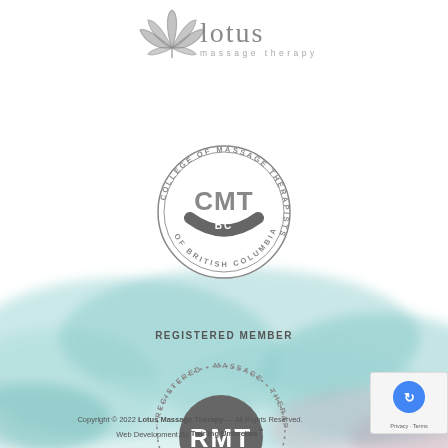[Figure (logo): Lotus Massage Therapy logo — lotus flower icon with 'lotus' text and 'massage therapy' subtitle in grey]
[Figure (logo): CMT BC College of Massage Therapists of British Columbia circular badge in grey]
REGISTERED MEMBER
[Figure (logo): RMT Registered Massage Therapist circular dotted badge in dark grey]
Copyright © 2022 Lotus Massage Therapy — All Rights Reserved. Web Development By Twirling Umbrellas™